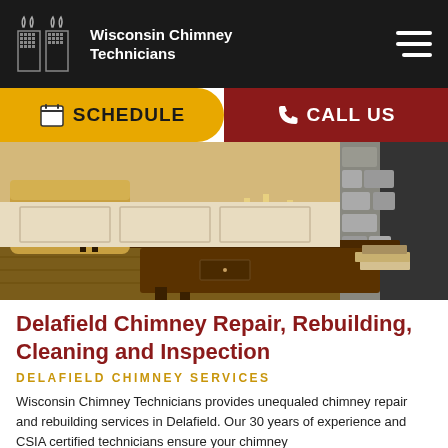Wisconsin Chimney Technicians
[Figure (screenshot): Website navigation bar with hamburger menu icon on dark background]
[Figure (screenshot): Call-to-action bar with Schedule (yellow/gold) and Call Us (dark red) buttons]
[Figure (photo): Interior living room photo showing a wooden coffee table with candelabra, armchair, side table, and stone fireplace in background]
Delafield Chimney Repair, Rebuilding, Cleaning and Inspection
DELAFIELD CHIMNEY SERVICES
Wisconsin Chimney Technicians provides unequaled chimney repair and rebuilding services in Delafield. Our 30 years of experience and CSIA certified technicians ensure your chimney...